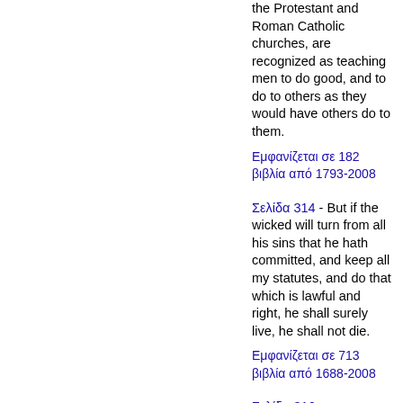the Protestant and Roman Catholic churches, are recognized as teaching men to do good, and to do to others as they would have others do to them.
Εμφανίζεται σε 182 βιβλία από 1793-2008
Σελίδα 314 - But if the wicked will turn from all his sins that he hath committed, and keep all my statutes, and do that which is lawful and right, he shall surely live, he shall not die.
Εμφανίζεται σε 713 βιβλία από 1688-2008
Σελίδα 316 - Forasmuch then as Christ hath